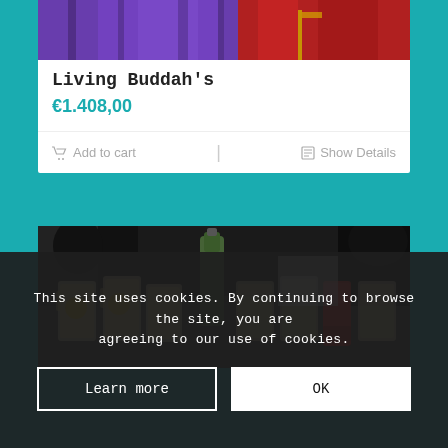[Figure (photo): Top portion of a colorful image showing purple and red fabric/clothing, partially cropped at the top of the product card]
Living Buddah's
€1.408,00
Add to cart
Show Details
[Figure (photo): Photo of beer mugs/glasses on a table with a bottle of liquor and a red can, dark/moody bar setting]
This site uses cookies. By continuing to browse the site, you are agreeing to our use of cookies.
Learn more
OK